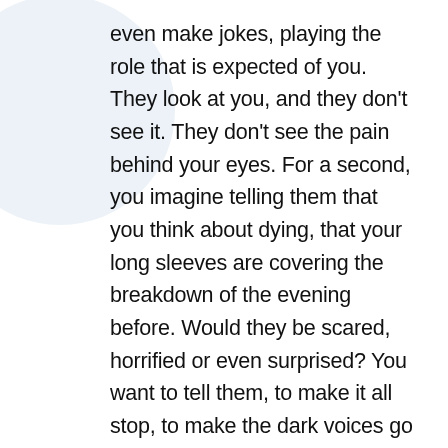even make jokes, playing the role that is expected of you. They look at you, and they don't see it. They don't see the pain behind your eyes. For a second, you imagine telling them that you think about dying, that your long sleeves are covering the breakdown of the evening before. Would they be scared, horrified or even surprised? You want to tell them, to make it all stop, to make the dark voices go away and share the heavy load that you have to carry. But that feels selfish, the words feel impossible to form, so you paint a smile and pretend to be okay.
Every minute that passes only exhausts you more. You feel continuation text...